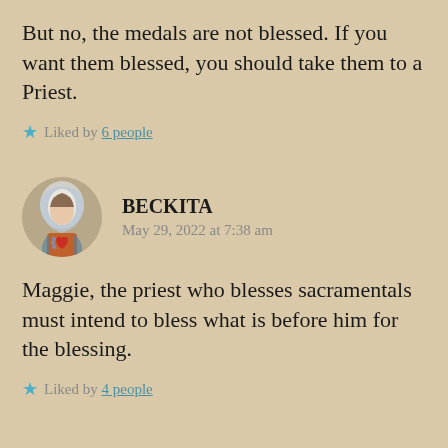But no, the medals are not blessed. If you want them blessed, you should take them to a Priest.
Liked by 6 people
BECKITA
May 29, 2022 at 7:38 am
Maggie, the priest who blesses sacramentals must intend to bless what is before him for the blessing.
Liked by 4 people